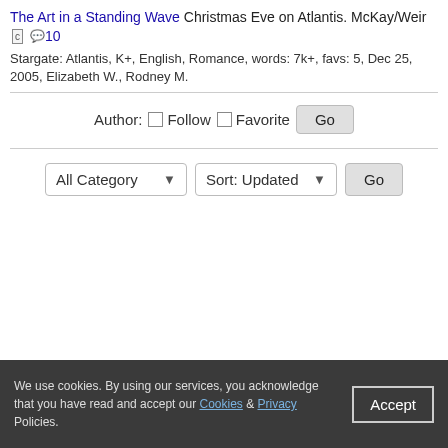The Art in a Standing Wave Christmas Eve on Atlantis. McKay/Weir [c] 10
Stargate: Atlantis, K+, English, Romance, words: 7k+, favs: 5, Dec 25, 2005, Elizabeth W., Rodney M.
Author: Follow Favorite Go
All Category Sort: Updated Go
We use cookies. By using our services, you acknowledge that you have read and accept our Cookies & Privacy Policies. Accept